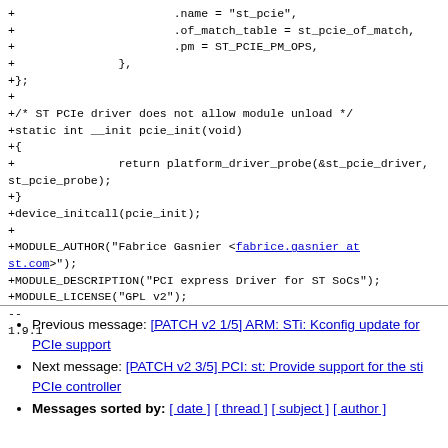+			.name = "st_pcie",
+			.of_match_table = st_pcie_of_match,
+			.pm = ST_PCIE_PM_OPS,
+		},
+};
+
+/* ST PCIe driver does not allow module unload */
+static int __init pcie_init(void)
+{
+		return platform_driver_probe(&st_pcie_driver,
st_pcie_probe);
+}
+device_initcall(pcie_init);
+
+MODULE_AUTHOR("Fabrice Gasnier <fabrice.gasnier at st.com>");
+MODULE_DESCRIPTION("PCI express Driver for ST SoCs");
+MODULE_LICENSE("GPL v2");
--
1.9.1
Previous message: [PATCH v2 1/5] ARM: STi: Kconfig update for PCIe support
Next message: [PATCH v2 3/5] PCI: st: Provide support for the sti PCIe controller
Messages sorted by: [ date ] [ thread ] [ subject ] [ author ]